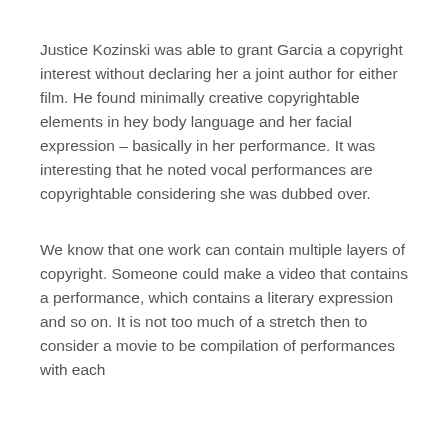Justice Kozinski was able to grant Garcia a copyright interest without declaring her a joint author for either film. He found minimally creative copyrightable elements in hey body language and her facial expression – basically in her performance. It was interesting that he noted vocal performances are copyrightable considering she was dubbed over.
We know that one work can contain multiple layers of copyright. Someone could make a video that contains a performance, which contains a literary expression and so on. It is not too much of a stretch then to consider a movie to be compilation of performances with each